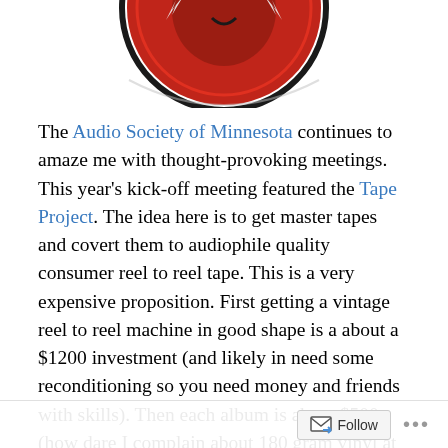[Figure (logo): Partial view of the Audio Society of Minnesota logo — red circular emblem with a stylized face and lightning bolt symbols, black border, white background, cropped at top.]
The Audio Society of Minnesota continues to amaze me with thought-provoking meetings. This year's kick-off meeting featured the Tape Project. The idea here is to get master tapes and covert them to audiophile quality consumer reel to reel tape.  This is a very expensive proposition. First getting a vintage reel to reel machine in good shape is a about a $1200 investment (and likely in need some reconditioning so you need money and friends with skills). Then each album is about $500 (how dare I complain about 180 gram vinyl at $30).  Back in my youth, reel to reel was the ultimate audiophile format.
The meeting started with a Skype interview with Paul